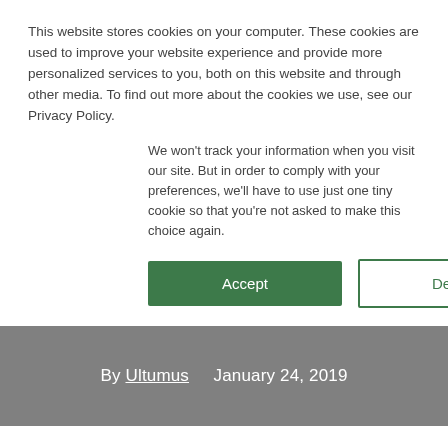This website stores cookies on your computer. These cookies are used to improve your website experience and provide more personalized services to you, both on this website and through other media. To find out more about the cookies we use, see our Privacy Policy.
We won't track your information when you visit our site. But in order to comply with your preferences, we'll have to use just one tiny cookie so that you're not asked to make this choice again.
Accept   Decline
By Ultumus   January 24, 2019
Speedread:
Desjardin is listing Canada's first market neutral ETF